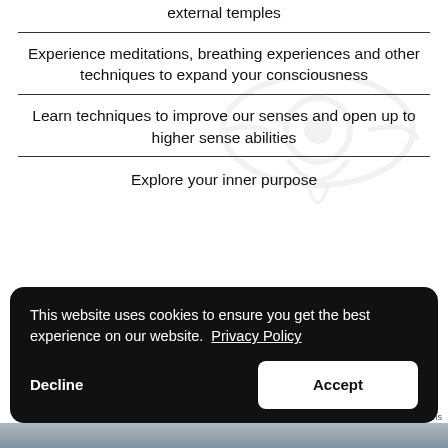external temples
Experience meditations, breathing experiences and other techniques to expand your consciousness
Learn techniques to improve our senses and open up to higher sense abilities
Explore your inner purpose
This website uses cookies to ensure you get the best experience on our website. Privacy Policy
Decline
Accept